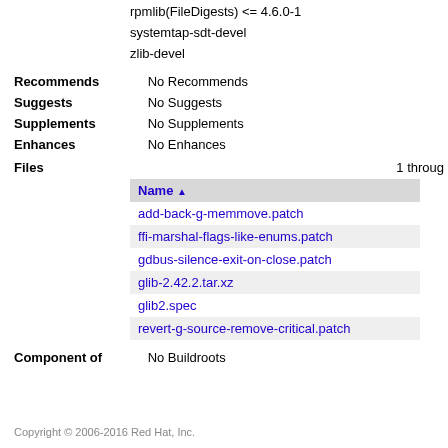rpmlib(CompressedFileNames) <= 3.0.4-1
rpmlib(FileDigests) <= 4.6.0-1
systemtap-sdt-devel
zlib-devel
Recommends   No Recommends
Suggests   No Suggests
Supplements   No Supplements
Enhances   No Enhances
Files   1 through
| Name ▲ |
| --- |
| add-back-g-memmove.patch |
| ffi-marshal-flags-like-enums.patch |
| gdbus-silence-exit-on-close.patch |
| glib-2.42.2.tar.xz |
| glib2.spec |
| revert-g-source-remove-critical.patch |
Component of   No Buildroots
Copyright © 2006-2016 Red Hat, Inc.